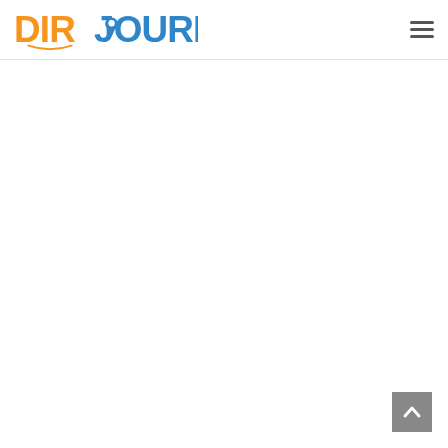[Figure (logo): DirJournal logo with orange 'DIR' text and blue 'JOURNAL' text with a map pin icon in the 'O']
[Figure (other): Hamburger menu icon (three horizontal lines) in the top right corner]
[Figure (other): Gray scroll-to-top button with upward chevron arrow in the bottom right corner]